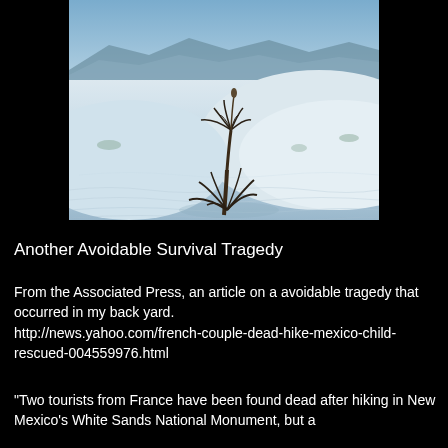[Figure (photo): White Sands National Monument landscape photo showing white gypsum sand dunes with a single yucca plant in the foreground and mountains in the background under a blue sky]
Another Avoidable Survival Tragedy
From the Associated Press, an article on a avoidable tragedy that occurred in my back yard. http://news.yahoo.com/french-couple-dead-hike-mexico-child-rescued-004559976.html
"Two tourists from France have been found dead after hiking in New Mexico's White Sands National Monument, but a